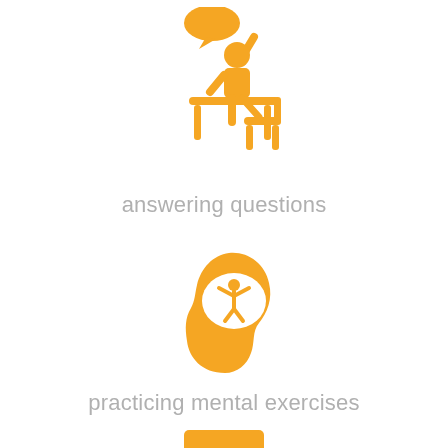[Figure (illustration): Orange icon of a student sitting at a desk with hand raised and a speech bubble above]
answering questions
[Figure (illustration): Orange icon of a human head profile with a brain area containing a figure with arms raised]
practicing mental exercises
[Figure (illustration): Orange rectangle icon partially visible at bottom of page]